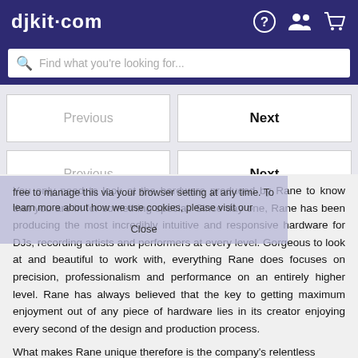djkit.com
Find what you're looking for...
Previous
Next
Previous
Next
free to manage this via your browser setting at any time. To learn more about how we use cookies, please visit our Close
You only need to look at the hardware produced by Rane to know that you are in for something special. Since day one, Rane has been producing the most incredibly intuitive and responsive hardware for DJs, recording artists and performers at every level. Gorgeous to look at and beautiful to work with, everything Rane does focuses on precision, professionalism and performance on an entirely higher level. Rane has always believed that the key to getting maximum enjoyment out of any piece of hardware lies in its creator enjoying every second of the design and production process.
What makes Rane unique therefore is the company's relentless